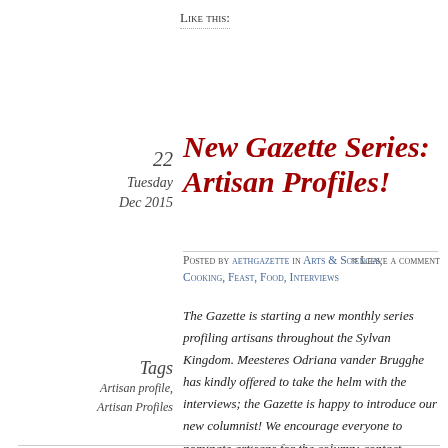Like this:
22 Tuesday Dec 2015
New Gazette Series: Artisan Profiles!
Posted by aethgazette in Arts & Sciences, Cooking, Feast, Food, Interviews  ≈ Leave a comment
Tags
Artisan profile, Artisan Profiles
The Gazette is starting a new monthly series profiling artisans throughout the Sylvan Kingdom. Meesteres Odriana vander Brugghe has kindly offered to take the helm with the interviews; the Gazette is happy to introduce our new columnist! We encourage everyone to nominate artisans for the column; contact information can be found at the end of the article.